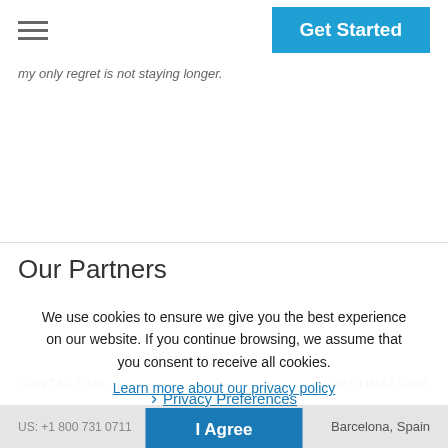Get Started
my only regret is not staying longer.
Our Partners
We use cookies to ensure we give you the best experience on our website. If you continue browsing, we assume that you consent to receive all cookies. Learn more about our privacy policy
Privacy Preferences
I Agree
CONTACT US  |  DESTINATIONS
US: +1 800 731 0711
Barcelona, Spain